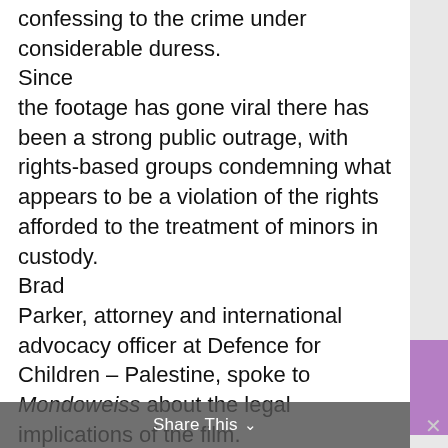confessing to the crime under considerable duress. Since the footage has gone viral there has been a strong public outrage, with rights-based groups condemning what appears to be a violation of the rights afforded to the treatment of minors in custody. Brad Parker, attorney and international advocacy officer at Defence for Children – Palestine, spoke to Mondoweiss about the legal implications of the film. “The circumstances depicted in the video present a situation that may amount to torture” he explained. “When determining if certain acts constitute
Share This ▾  ✕